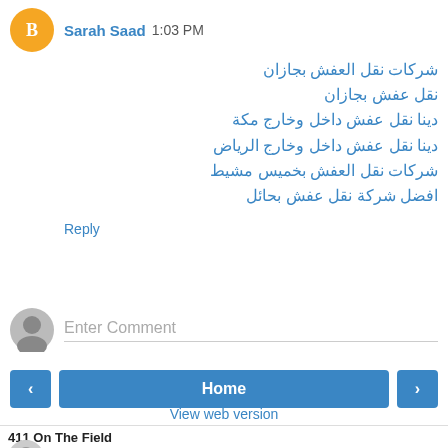Sarah Saad  1:03 PM
شركات نقل العفش بجازان
نقل عفش بجازان
دينا نقل عفش داخل وخارج مكة
دينا نقل عفش داخل وخارج الرياض
شركات نقل العفش بخميس مشيط
افضل شركة نقل عفش بحائل
Reply
Enter Comment
‹   Home   ›
View web version
411 On The Field
field negro